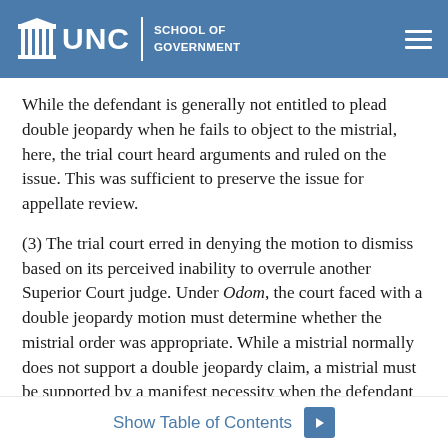UNC School of Government
While the defendant is generally not entitled to plead double jeopardy when he fails to object to the mistrial, here, the trial court heard arguments and ruled on the issue. This was sufficient to preserve the issue for appellate review.
(3) The trial court erred in denying the motion to dismiss based on its perceived inability to overrule another Superior Court judge. Under Odom, the court faced with a double jeopardy motion must determine whether the mistrial order was appropriate. While a mistrial normally does not support a double jeopardy claim, a mistrial must be supported by a manifest necessity when the defendant objects. A mistrial may be declared due to “physical necessity”—such as when a
Show Table of Contents